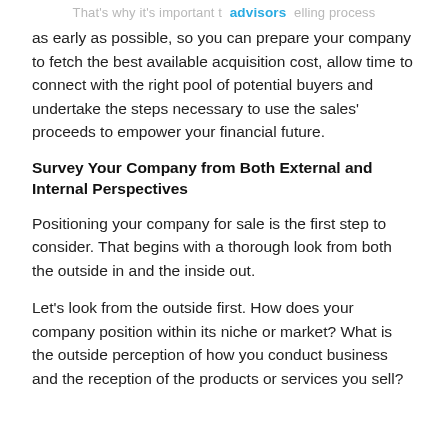That's why it's important to advisors elling process
as early as possible, so you can prepare your company to fetch the best available acquisition cost, allow time to connect with the right pool of potential buyers and undertake the steps necessary to use the sales' proceeds to empower your financial future.
Survey Your Company from Both External and Internal Perspectives
Positioning your company for sale is the first step to consider. That begins with a thorough look from both the outside in and the inside out.
Let's look from the outside first. How does your company position within its niche or market? What is the outside perception of how you conduct business and the reception of the products or services you sell?